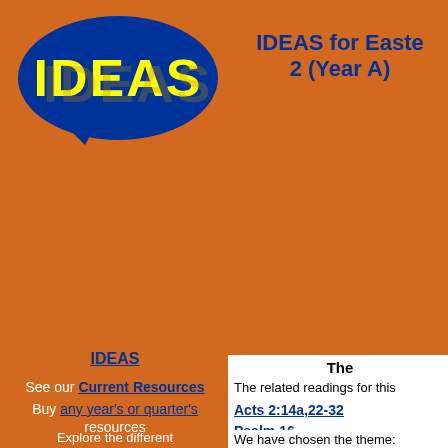[Figure (logo): IDEAS speech bubble logo - blue ellipse with yellow and gold text 'IDEAS' on orange background]
IDEAS for Easter 2 (Year A)
IDEAS
See our Current Resources
Buy any year's or quarter's resources
Explore the different Subscription Packages for IDEAS
Indexes: Biblical Hymns and songs Videos Lectionary
The
The related readings for this
Acts 2:14a,22-32
Psalm 16
1 Peter 1:3-9
John 20:19-31
We have chosen the theme:
The second service readings
Daniel 6:(1-5),6-23
Psalm 30:1-5